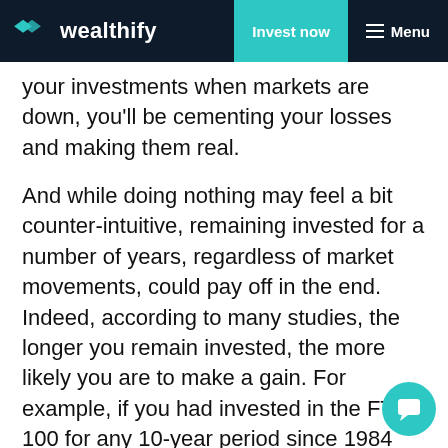wealthify | Invest now | Menu
your investments when markets are down, you'll be cementing your losses and making them real.
And while doing nothing may feel a bit counter-intuitive, remaining invested for a number of years, regardless of market movements, could pay off in the end. Indeed, according to many studies, the longer you remain invested, the more likely you are to make a gain. For example, if you had invested in the FTSE 100 for any 10-year period since 1984 until now, you would have had an 89% chance of making a positive return – and this is a time that includes many market crashes, like Black Mon...